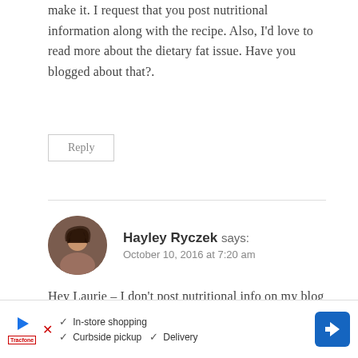make it. I request that you post nutritional information along with the recipe. Also, I'd love to read more about the dietary fat issue. Have you blogged about that?.
Reply
[Figure (photo): Circular avatar photo of Hayley Ryczek, a woman with dark curly hair]
Hayley Ryczek says:
October 10, 2016 at 7:20 am
Hey Laurie – I don't post nutritional info on my blog posts but you are welcome to calculate it yourself, I've heard myfitnesspal is good and you can add complete recipes. I have blogged about fat, click
[Figure (infographic): Advertisement banner: In-store shopping, Curbside pickup, Delivery with navigation arrow icon]